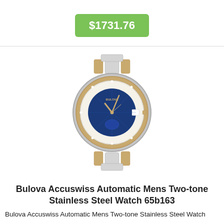$1731.76
[Figure (photo): Bulova Accuswiss Automatic Mens Two-tone Stainless Steel Watch with blue dial and gold/silver bracelet]
Bulova Accuswiss Automatic Mens Two-tone Stainless Steel Watch 65b163
Bulova Accuswiss Automatic Mens Two-tone Stainless Steel Watch